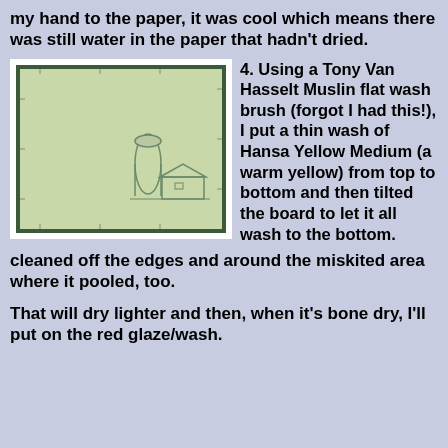my hand to the paper, it was cool which means there was still water in the paper that hadn't dried.
[Figure (photo): A watercolor paper with a light green/yellow wash, showing a faint pencil sketch of a barn and silo in the lower right area. The paper is mounted on a dark green board and shown with a white border.]
4. Using a Tony Van Hasselt Muslin flat wash brush (forgot I had this!), I put a thin wash of Hansa Yellow Medium (a warm yellow) from top to bottom and then tilted the board to let it all wash to the bottom. I cleaned off the edges and around the miskited area where it pooled, too.
That will dry lighter and then, when it's bone dry, I'll put on the red glaze/wash.